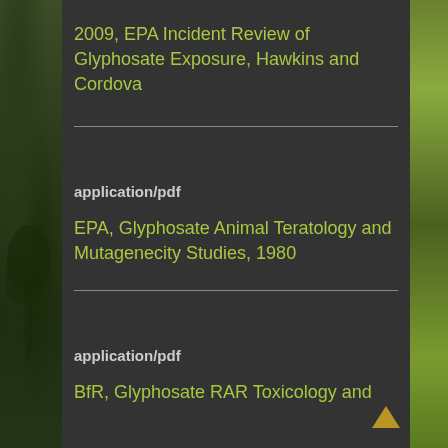2009, EPA Incident Review of Glyphosate Exposure, Hawkins and Cordova
application/pdf
EPA, Glyphosate Animal Teratology and Mutagenecity Studies, 1980
application/pdf
BfR, Glyphosate RAR Toxicology and